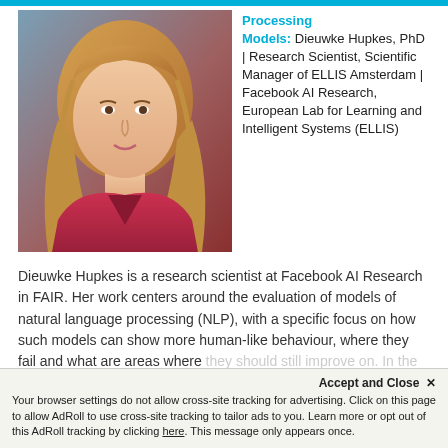[Figure (photo): Headshot of Dieuwke Hupkes, a woman with long blonde hair wearing a red top, photographed against a grey-blue background.]
Processing Models: Dieuwke Hupkes, PhD | Research Scientist, Scientific Manager of ELLIS Amsterdam | Facebook AI Research, European Lab for Learning and Intelligent Systems (ELLIS)
Dieuwke Hupkes is a research scientist at Facebook AI Research in FAIR. Her work centers around the evaluation of models of natural language processing (NLP), with a specific focus on how such models can show more human-like behaviour, where they fail and what are areas where they should still improve on. In the context past
Accept and Close ×
Your browser settings do not allow cross-site tracking for advertising. Click on this page to allow AdRoll to use cross-site tracking to tailor ads to you. Learn more or opt out of this AdRoll tracking by clicking here. This message only appears once.